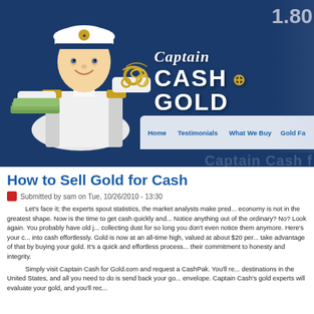[Figure (illustration): Captain Cash for Gold website header with cartoon captain in white naval uniform holding gold jewelry and cash, on dark navy blue background. Logo text reads 'Captain Cash for Gold'. Phone number partially visible: 1.80...]
Home   Testimonials   What We Buy   Gold Fa...
How to Sell Gold for Cash
Submitted by sam on Tue, 10/26/2010 - 13:30
Let's face it; the experts spout statistics, the market analysts make pred... economy is not in the greatest shape. Now is the time to get cash quickly and... Notice anything out of the ordinary? No? Look again. You probably have old j... collecting dust for so long you don't even notice them anymore. Here's your c... into cash effortlessly. Gold is now at an all-time high, valued at about $20 per... take advantage of that by buying your gold. It's a quick and effortless process... their commitment to honesty and integrity.
Simply visit Captain Cash for Gold.com and request a CashPak. You'll re... destinations in the United States, and all you need to do is send back your go... envelope. Captain Cash's gold experts will evaluate your gold, and you'll rec...